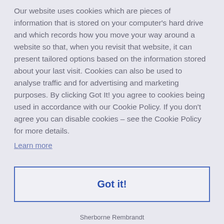Our website uses cookies which are pieces of information that is stored on your computer's hard drive and which records how you move your way around a website so that, when you revisit that website, it can present tailored options based on the information stored about your last visit. Cookies can also be used to analyse traffic and for advertising and marketing purposes. By clicking Got It! you agree to cookies being used in accordance with our Cookie Policy. If you don't agree you can disable cookies – see the Cookie Policy for more details.
Learn more
Got it!
Sherborne Rembrandt